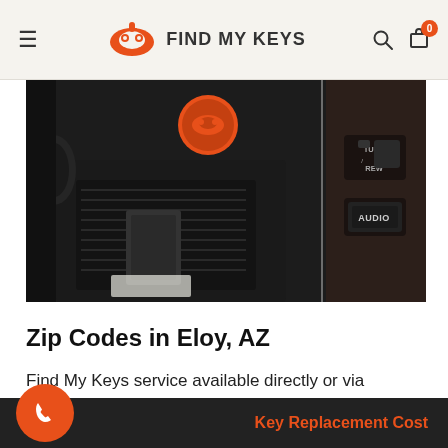FIND MY KEYS
[Figure (photo): Car interior showing floor mat, pedals, and dashboard controls including TUNE/REW and AUDIO buttons. A round Find My Keys sticker is visible.]
Zip Codes in Eloy, AZ
Find My Keys service available directly or via independent contractors in Eloy, Arizona 85131, 85193.
live in Eloy, AZ -than towing your car
Key Replacement Cost